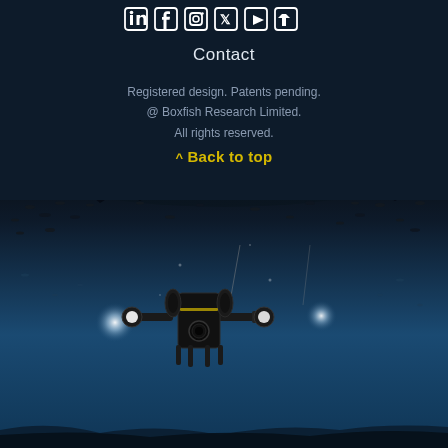[Figure (illustration): Social media icons row (LinkedIn, Facebook, Instagram, Twitter/X, YouTube, Pinterest or similar) displayed in white/outline style on dark background]
Contact
Registered design. Patents pending.
@ Boxfish Research Limited.
All rights reserved.
^ Back to top
[Figure (photo): Underwater photograph showing an ROV (remotely operated vehicle) with two bright lights illuminated, surrounded by fish silhouettes beneath the dark hull of a boat. The water is deep blue and the scene shows the ROV exploring beneath the boat's hull.]